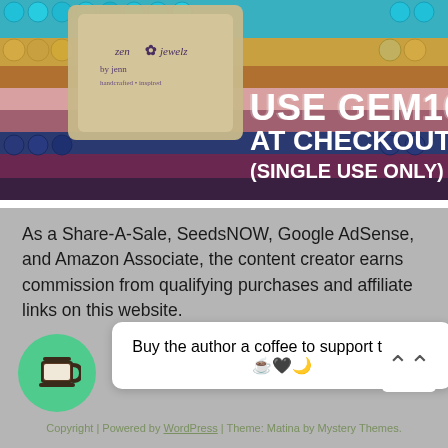[Figure (photo): Zen Jewelz advertisement banner showing colorful gemstone beads in rows (turquoise, gold, brown, pink, blue, purple) with a burlap bag bearing the Zen Jewelz logo. Text overlay reads: USE GEM10 AT CHECKOUT (SINGLE USE ONLY)]
As a Share-A-Sale, SeedsNOW, Google AdSense, and Amazon Associate, the content creator earns commission from qualifying purchases and affiliate links on this website.
Buy the author a coffee to support this site ☕🖤🌙
Copyright | Powered by WordPress | Theme: Matina by Mystery Themes.